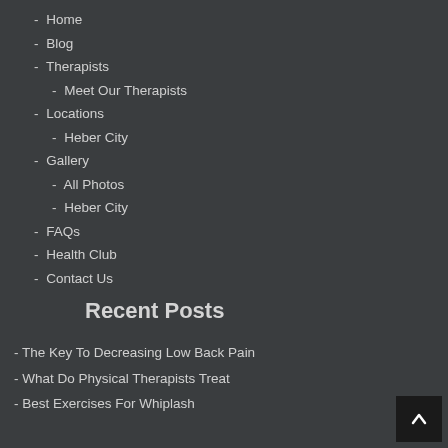- Home
- Blog
- Therapists
- Meet Our Therapists
- Locations
- Heber City
- Gallery
- All Photos
- Heber City
- FAQs
- Health Club
- Contact Us
Recent Posts
- The Key To Decreasing Low Back Pain
- What Do Physical Therapists Treat
- Best Exercises For Whiplash